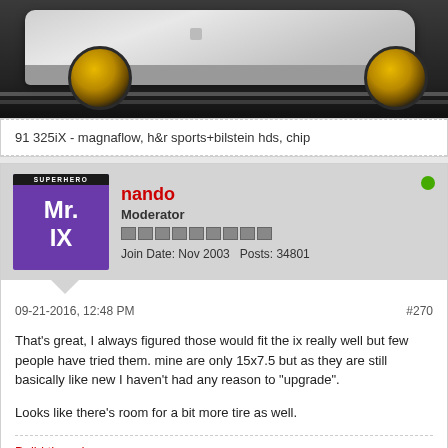[Figure (photo): Photo of a silver car with gold/bronze wheels on dark pavement, showing the side profile from the front wheel to rear]
91 325iX - magnaflow, h&r sports+bilstein hds, chip
nando
Moderator
Join Date: Nov 2003   Posts: 34801
09-21-2016, 12:48 PM
#270
That's great, I always figured those would fit the ix really well but few people have tried them. mine are only 15x7.5 but as they are still basically like new I haven't had any reason to "upgrade".

Looks like there's room for a bit more tire as well.
Build thread